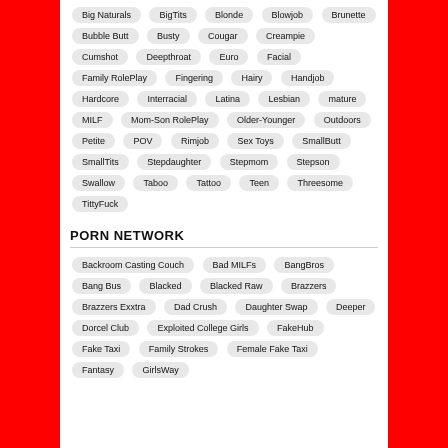Big Naturals
BigTits
Blonde
Blowjob
Brunette
Bubble Butt
Busty
Cougar
Creampie
Cumshot
Deepthroat
Euro
Facial
Family RolePlay
Fingering
Hairy
Handjob
Hardcore
Interracial
Latina
Lesbian
mature
MILF
Mom-Son RolePlay
Older-Younger
Outdoors
Petite
POV
Rimjob
Sex Toys
SmallButt
SmallTits
Stepdaughter
Stepmom
Stepson
Swallow
Taboo
Tattoo
Teen
Threesome
TittyFuck
PORN NETWORK
Backroom Casting Couch
Bad MILFs
BangBros
Bang Bus
Blacked
Blacked Raw
Brazzers
Brazzers Exxtra
Dad Crush
Daughter Swap
Deeper
Dorcel Club
Exploited College Girls
FakeHub
Fake Taxi
Family Strokes
Female Fake Taxi
Fantasy
GirlsWay